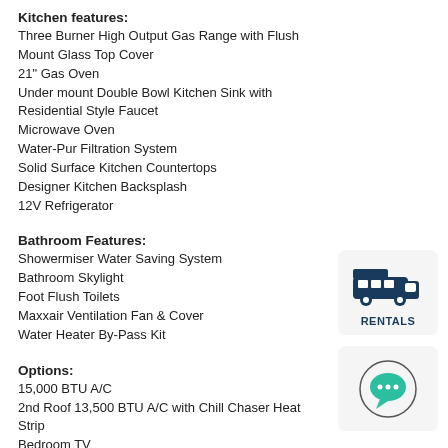Kitchen features:
Three Burner High Output Gas Range with Flush Mount Glass Top Cover
21" Gas Oven
Under mount Double Bowl Kitchen Sink with Residential Style Faucet
Microwave Oven
Water-Pur Filtration System
Solid Surface Kitchen Countertops
Designer Kitchen Backsplash
12V Refrigerator
Bathroom Features:
Showermiser Water Saving System
Bathroom Skylight
Foot Flush Toilets
Maxxair Ventilation Fan & Cover
Water Heater By-Pass Kit
Options:
15,000 BTU A/C
2nd Roof 13,500 BTU A/C with Chill Chaser Heat Strip
Bedroom TV
Free Standing Table and Chairs IPO Dinette (N/A 2613BS)
Tongue Mount Bike Rack
Slide Toppers
Thermopane Windows
Day/Night Roller Shade
[Figure (logo): RENTALS badge with RV icon in navy blue]
[Figure (logo): Chat bubble icon in teal/green]